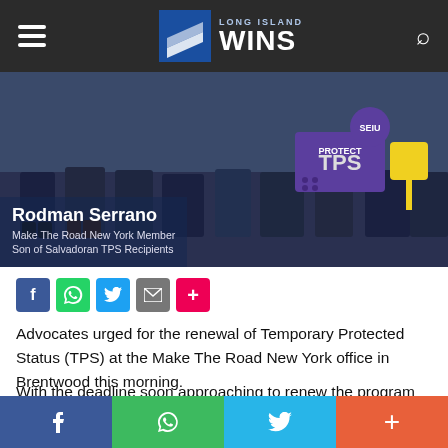Long Island Wins
[Figure (photo): Advocates holding signs at Make The Road New York office including a 'PROTECT TPS' sign. Text overlay reads: Rodman Serrano, Make The Road New York Member, Son of Salvadoran TPS Recipients.]
Advocates urged for the renewal of Temporary Protected Status (TPS) at the Make The Road New York office in Brentwood this morning.
With the deadline soon approaching to renew the program for more than 60,000 Nicaraguans and Hondurans, the Department of Homeland Security was expected to make a decision on Monday with no further details released. As of publication, no